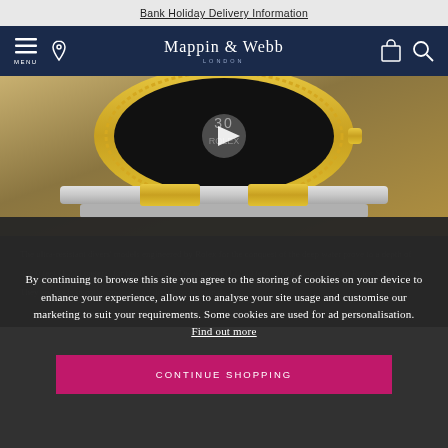Bank Holiday Delivery Information
[Figure (logo): Mappin & Webb London logo in navigation bar with menu, location, bag, and search icons]
[Figure (photo): Close-up of Rolex luxury watch with gold and silver bezel and bracelet, dial visible]
The ultra-resistant divers' models engineered by Rolex for the conquest of the deep water prove to a depth of 4,000 feet (1,220 meters) for the Rolex Sea-Dweller and (12,800 feet (3,900 meters) for the Rolex Sea-Dweller. They are made in collaboration with diving professionals.
By continuing to browse this site you agree to the storing of cookies on your device to enhance your experience, allow us to analyse your site usage and customise our marketing to suit your requirements. Some cookies are used for ad personalisation. Find out more
CONTINUE SHOPPING